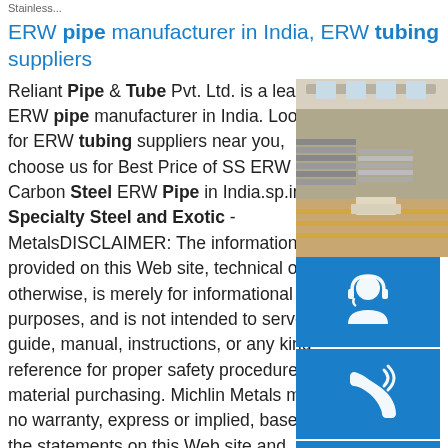[ partial URL / breadcrumb at top ]
ERW pipe manufacturer in India, ERW tubing suppliers
Reliant Pipe & Tube Pvt. Ltd. is a leading ERW pipe manufacturer in India. Looking for ERW tubing suppliers near you, choose us for Best Price of SS ERW Pipe, Carbon Steel ERW Pipe in India.sp.info Specialty Steel and Exotic - MetalsDISCLAIMER: The information provided on this Web site, technical or otherwise, is merely for informational purposes, and is not intended to serve as a guide, manual, instructions, or any kind reference for proper safety procedures or material purchasing. Michlin Metals makes no warranty, express or implied, based on the statements on this Web site and, as such, will not be liable for any
[Figure (photo): Warehouse interior with stacked steel sheets/plates on the floor]
[Figure (illustration): Blue button with white headset/customer support icon]
[Figure (illustration): Blue button with white phone/call icon]
[Figure (illustration): Blue button with white Skype icon]